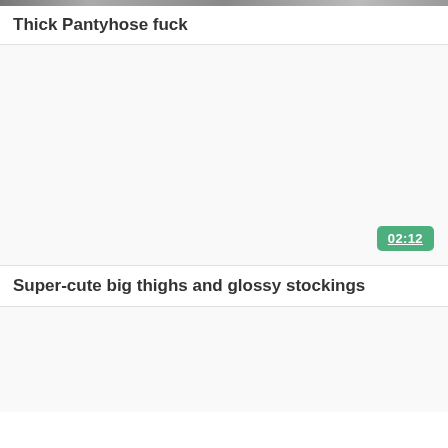[Figure (screenshot): Top strip showing partial image thumbnails]
Thick Pantyhose fuck
[Figure (screenshot): Video thumbnail area (white/blank) with duration badge 02:12]
Super-cute big thighs and glossy stockings
[Figure (screenshot): Second video thumbnail area (white/blank), partially visible]